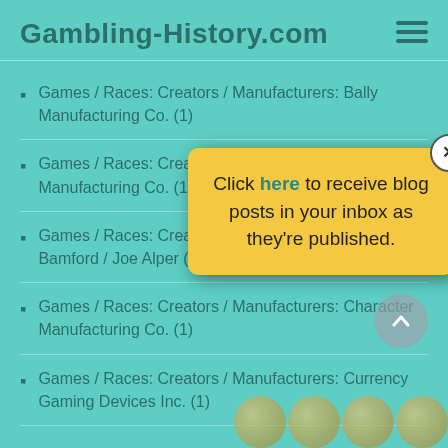Gambling-History.com
Games / Races: Creators / Manufacturers: Bally Manufacturing Co. (1)
Games / Races: Creators / Manufacturers: Bally Manufacturing Co. (1)
Games / Races: Creators / Manufacturers: Bob Bamford / Joe Alper (1)
Games / Races: Creators / Manufacturers: Character Manufacturing Co. (1)
Games / Races: Creators / Manufacturers: Currency Gaming Devices Inc. (1)
[Figure (screenshot): Yellow popup modal with close button (×), text: Click here to receive blog posts in your inbox as they're published.]